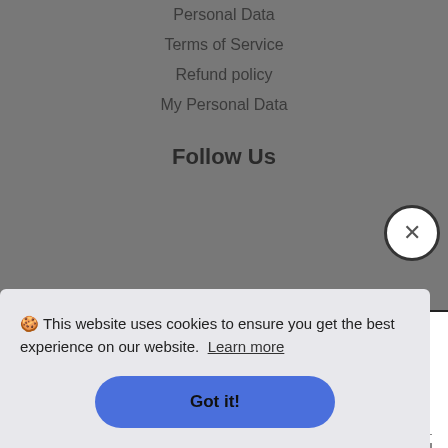Personal Data
Terms of Service
Refund policy
My Personal Data
Follow Us
[Figure (screenshot): Sign up modal with title SIGN UP, subtitle GET OUR NEWSLETTER & SAVE!, email input field labeled ENTER YOUR EMAIL, and a subscribe button]
🍪 This website uses cookies to ensure you get the best experience on our website. Learn more
Got it!